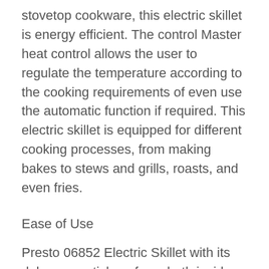stovetop cookware, this electric skillet is energy efficient. The control Master heat control allows the user to regulate the temperature according to the cooking requirements of even use the automatic function if required. This electric skillet is equipped for different cooking processes, from making bakes to stews and grills, roasts, and even fries.
Ease of Use
Presto 06852 Electric Skillet with its deluxe nonstick surface, both inside and out, makes it incredibly easy to cook and clean. While entertaining guests or